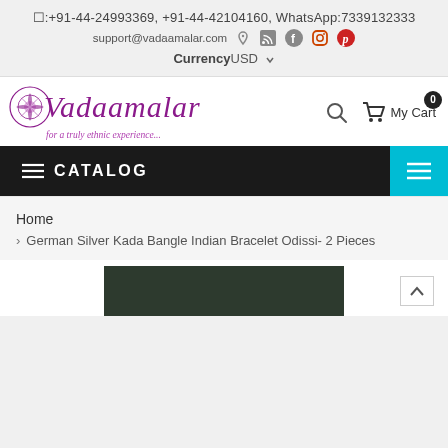☐:+91-44-24993369, +91-44-42104160, WhatsApp:7339132333
support@vadaamalar.com
CurrencyUSD
[Figure (logo): Vadaamalar logo with decorative circular flower emblem and italic purple cursive text 'Vadaamalar' with tagline 'for a truly ethnic experience...']
My Cart 0
≡ CATALOG
Home
> German Silver Kada Bangle Indian Bracelet Odissi- 2 Pieces
[Figure (photo): Dark green product image at bottom of page, partially visible]